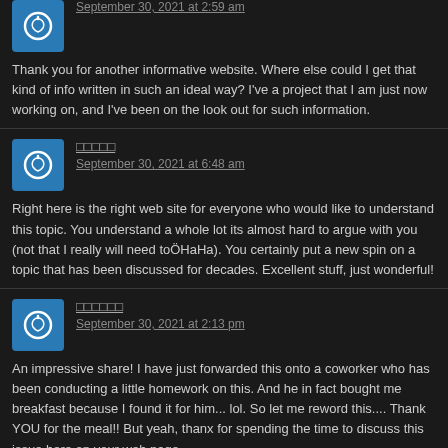September 30, 2021 at 2:59 am
Thank you for another informative website. Where else could I get that kind of info written in such an ideal way? I've a project that I am just now working on, and I've been on the look out for such information.
□□□□□
September 30, 2021 at 6:48 am
Right here is the right web site for everyone who would like to understand this topic. You understand a whole lot its almost hard to argue with you (not that I really will need toÖHaHa). You certainly put a new spin on a topic that has been discussed for decades. Excellent stuff, just wonderful!
□□□□□□
September 30, 2021 at 2:13 pm
An impressive share! I have just forwarded this onto a coworker who has been conducting a little homework on this. And he in fact bought me breakfast because I found it for him... lol. So let me reword this.... Thank YOU for the meal!! But yeah, thanx for spending the time to discuss this issue here on your web page.